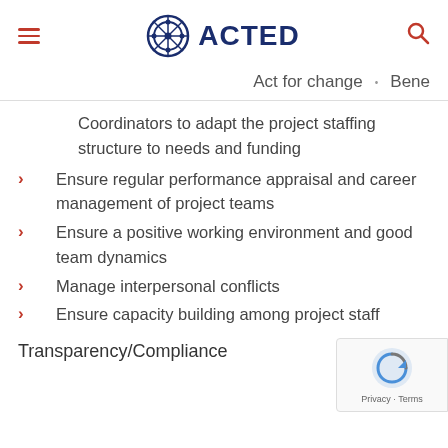ACTED
Act for change · Bene
Coordinators to adapt the project staffing structure to needs and funding
Ensure regular performance appraisal and career management of project teams
Ensure a positive working environment and good team dynamics
Manage interpersonal conflicts
Ensure capacity building among project staff
Transparency/Compliance